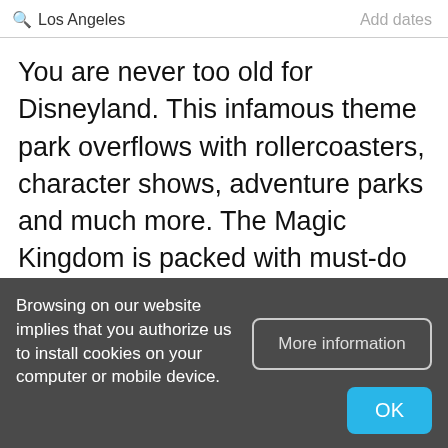Los Angeles   Add dates
You are never too old for Disneyland. This infamous theme park overflows with rollercoasters, character shows, adventure parks and much more. The Magic Kingdom is packed with must-do attractions spread over seven 'lands' all with separate themes inspired by Disney creations. Most people infiltrate to come here for the rides. Among the best are
Browsing on our website implies that you authorize us to install cookies on your computer or mobile device.
More information
OK